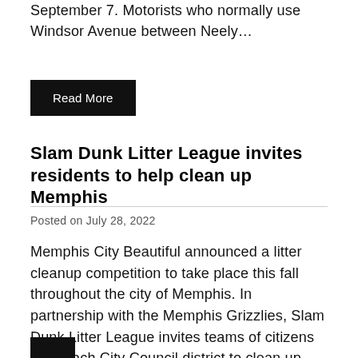September 7. Motorists who normally use Windsor Avenue between Neely…
Read More
Slam Dunk Litter League invites residents to help clean up Memphis
Posted on July 28, 2022
Memphis City Beautiful announced a litter cleanup competition to take place this fall throughout the city of Memphis. In partnership with the Memphis Grizzlies, Slam Dunk Litter League invites teams of citizens from each City Council district to clean up and compete to win prizes. Teams will score two points…